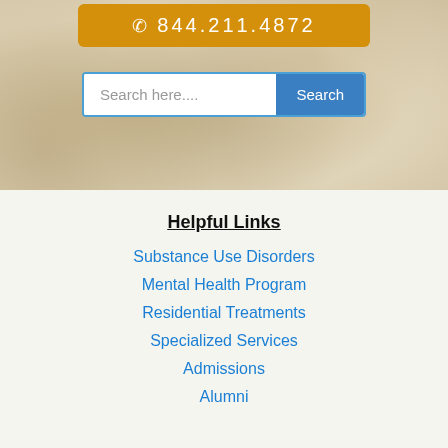[Figure (screenshot): Sandy/stone textured hero background with amber phone number bar showing '844.211.4872' and a search bar with 'Search here....' placeholder and blue Search button]
Helpful Links
Substance Use Disorders
Mental Health Program
Residential Treatments
Specialized Services
Admissions
Alumni